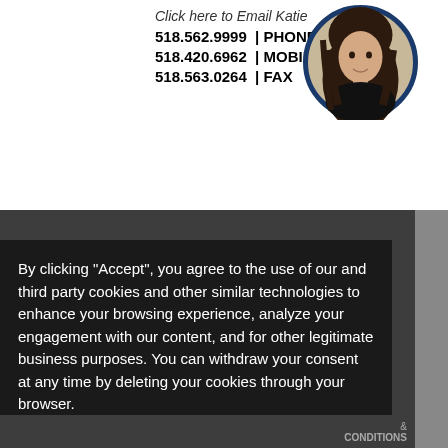Click here to Email Katie
518.562.9999 | PHONE
518.420.6962 | MOBILE
518.563.0264 | FAX
[Figure (photo): Circular profile photo of a woman with long dark hair wearing a black turtleneck, framed with a dark blue circular border]
By clicking "Accept", you agree to the use of our and third party cookies and other similar technologies to enhance your browsing experience, analyze your engagement with our content, and for other legitimate business purposes. You can withdraw your consent at any time by deleting your cookies through your browser.
Accept
CONDITIONS